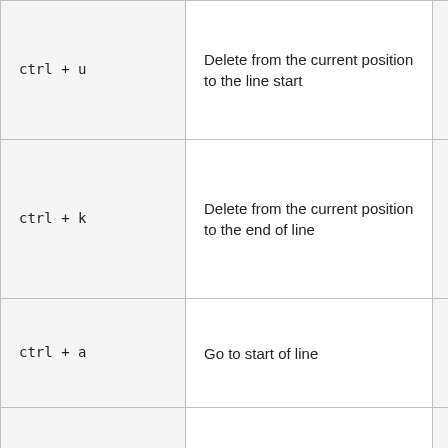| Shortcut | Description |  |
| --- | --- | --- |
| ctrl + u | Delete from the current position to the line start |  |
| ctrl + k | Delete from the current position to the end of line |  |
| ctrl + a | Go to start of line |  |
| ctrl + e | Go to to end of line |  |
| ctrl + b | Back one character |  |